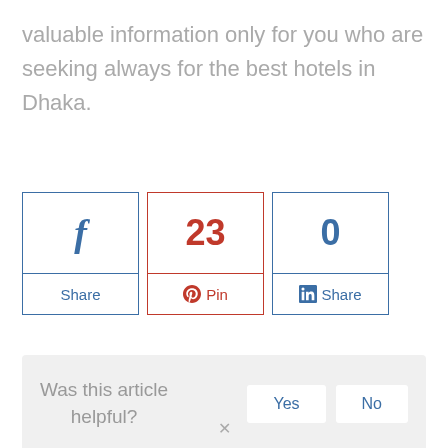valuable information only for you who are seeking always for the best hotels in Dhaka.
[Figure (infographic): Social sharing buttons: Facebook Share, Pinterest Pin (23), LinkedIn Share (0)]
Was this article helpful?
Yes
No